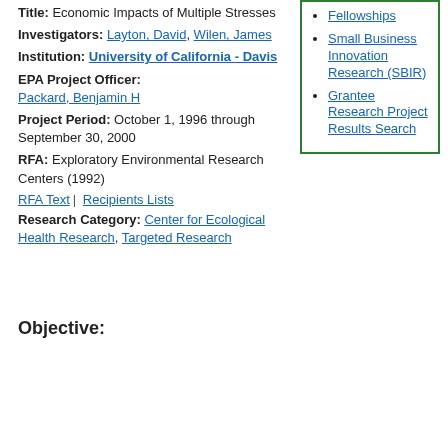Title: Economic Impacts of Multiple Stresses
Investigators: Layton, David , Wilen, James
Institution: University of California - Davis
EPA Project Officer: Packard, Benjamin H
Project Period: October 1, 1996 through September 30, 2000
RFA: Exploratory Environmental Research Centers (1992)
RFA Text | Recipients Lists
Research Category: Center for Ecological Health Research , Targeted Research
Fellowships
Small Business Innovation Research (SBIR)
Grantee Research Project Results Search
Objective: